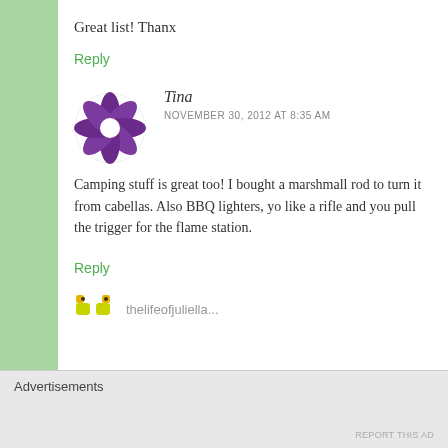Great list! Thanx
Reply
[Figure (logo): Purple spiral/flower avatar icon for user Tina]
Tina
NOVEMBER 30, 2012 AT 8:35 AM
Camping stuff is great too! I bought a marshmall rod to turn it from cabellas. Also BBQ lighters, yo like a rifle and you pull the trigger for the flame station.
Reply
[Figure (illustration): Small yellow/green emoji-style avatar icon for next commenter]
thelifeofjuliella...
Advertisements